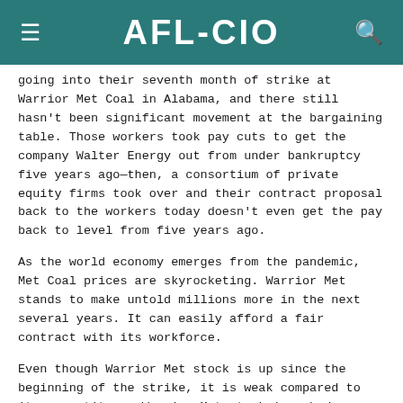AFL-CIO
going into their seventh month of strike at Warrior Met Coal in Alabama, and there still hasn't been significant movement at the bargaining table. Those workers took pay cuts to get the company Walter Energy out from under bankruptcy five years ago—then, a consortium of private equity firms took over and their contract proposal back to the workers today doesn't even get the pay back to level from five years ago.
As the world economy emerges from the pandemic, Met Coal prices are skyrocketing. Warrior Met stands to make untold millions more in the next several years. It can easily afford a fair contract with its workforce.
Even though Warrior Met stock is up since the beginning of the strike, it is weak compared to its competitors. Warrior Met stock is a bad investment, while the strike continues.